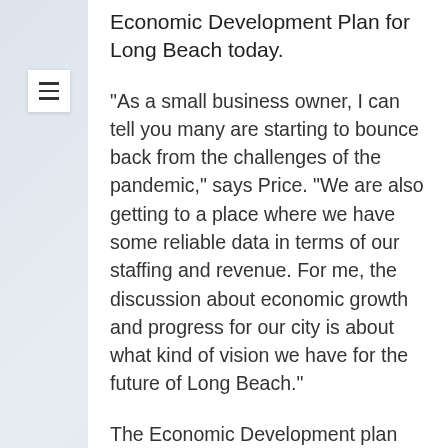Economic Development Plan for Long Beach today.
“As a small business owner, I can tell you many are starting to bounce back from the challenges of the pandemic,” says Price. “We are also getting to a place where we have some reliable data in terms of our staffing and revenue. For me, the discussion about economic growth and progress for our city is about what kind of vision we have for the future of Long Beach.”
The Economic Development plan identifies two specific actions needed to foster business development and achieve economic growth. First, investing in the small business sector, and, second, creating industry specific incentives to recruit, retain and grow those sectors in Long Beach.